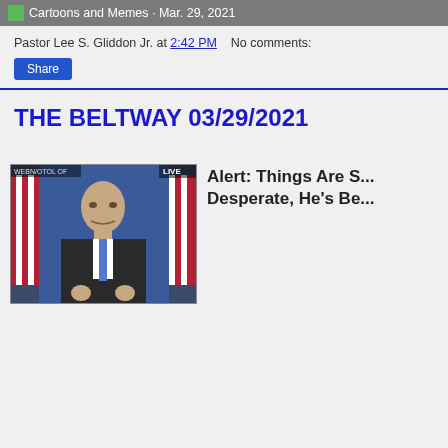Cartoons and Memes · Mar. 29, 2021
Pastor Lee S. Gliddon Jr. at 2:42 PM    No comments:
Share
THE BELTWAY 03/29/2021
[Figure (photo): Man in suit speaking at podium with American flags in background, LIVE chyron, WEBN/OTOL OF watermark]
Alert: Things Are S... Desperate, He's Be...